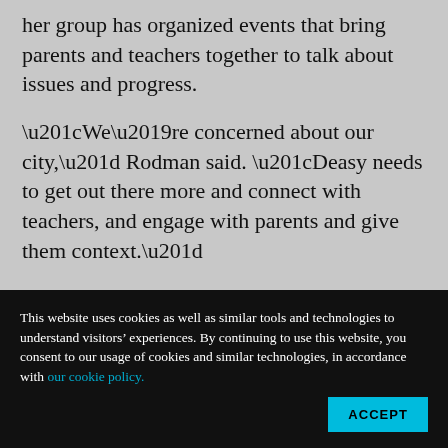her group has organized events that bring parents and teachers together to talk about issues and progress.
“We’re concerned about our city,” Rodman said. “Deasy needs to get out there more and connect with teachers, and engage with parents and give them context.”
In the meantime, many seem unconvinced that
This website uses cookies as well as similar tools and technologies to understand visitors’ experiences. By continuing to use this website, you consent to our usage of cookies and similar technologies, in accordance with our cookie policy.